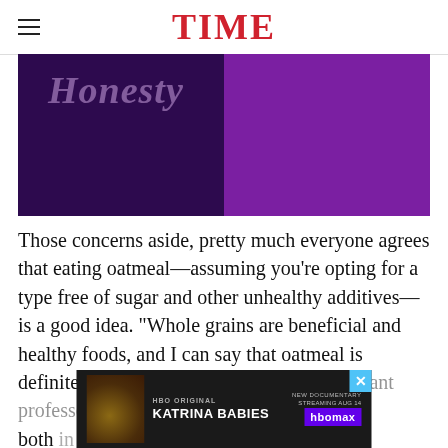TIME
[Figure (illustration): Purple/dark purple image background with partially visible italic text overlay, appears to be a TIME magazine article header image]
Those concerns aside, pretty much everyone agrees that eating oatmeal—assuming you're opting for a type free of sugar and other unhealthy additives—is a good idea. "Whole grains are beneficial and healthy foods, and I can say that oatmeal is definitely beneficial," says Qi Sun, an assistant professor of nutrition at Harvard, both in...
[Figure (advertisement): HBO Original Katrina Babies New Documentary Streaming Aug 14 HBO Max advertisement banner]